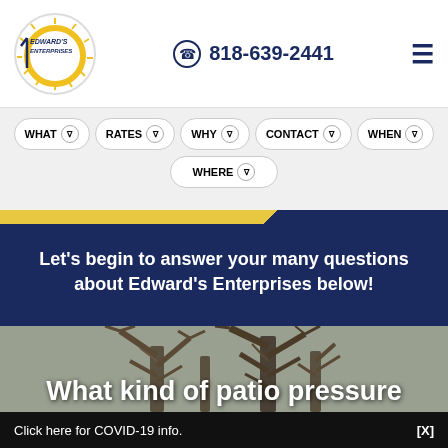Edward's Enterprises | 818-639-2441
[Figure (logo): Edward's Enterprises circular logo with sun rays and blue/yellow text]
818-639-2441
Navigation menu items: WHAT, RATES, WHY, CONTACT, WHEN, WHERE
Let's begin to answer your many questions about Edward's Enterprises below!
[Figure (photo): Bare winter trees against a gray sky background]
What kind of patio pressure
Click here for COVID-19 info.  [X]